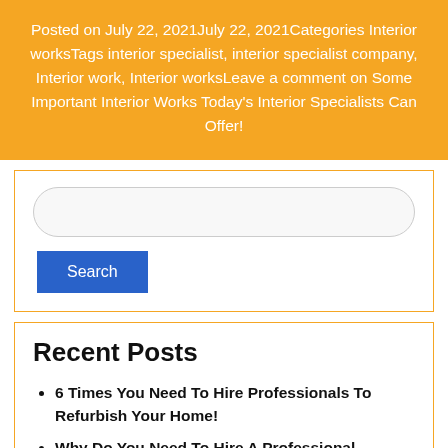Posted on July 22, 2021July 22, 2021Categories Interior worksTags interior specialist, interior specialist company, Interior work, Interior worksLeave a comment on Some Important Interior Works Today's Interior Specialists Can Offer!
[Figure (other): Search input box with rounded border and a blue Search button below it]
Recent Posts
6 Times You Need To Hire Professionals To Refurbish Your Home!
Why Do You Need To Hire A Professional Plumber? Know Here!